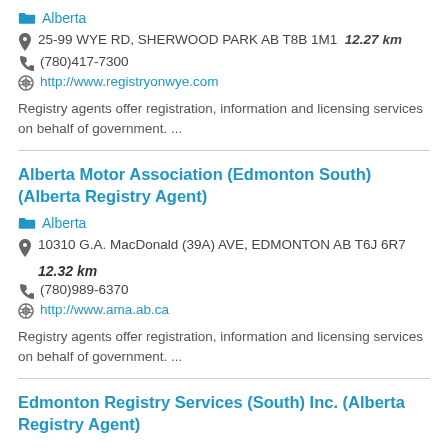Alberta
25-99 WYE RD, SHERWOOD PARK AB T8B 1M1   12.27 km
(780)417-7300
http://www.registryonwye.com
Registry agents offer registration, information and licensing services on behalf of government. ...
Alberta Motor Association (Edmonton South) (Alberta Registry Agent)
Alberta
10310 G.A. MacDonald (39A) AVE, EDMONTON AB T6J 6R7   12.32 km
(780)989-6370
http://www.ama.ab.ca
Registry agents offer registration, information and licensing services on behalf of government. ...
Edmonton Registry Services (South) Inc. (Alberta Registry Agent)